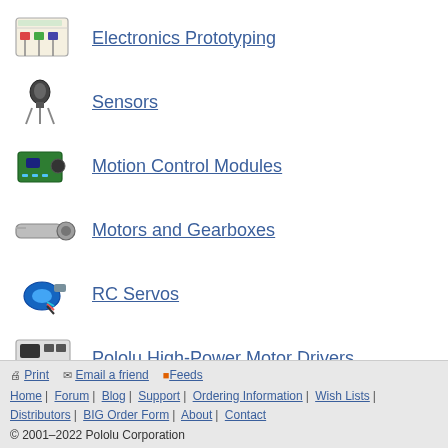Electronics Prototyping
Sensors
Motion Control Modules
Motors and Gearboxes
RC Servos
Pololu High-Power Motor Drivers
Print | Email a friend | Feeds | Home | Forum | Blog | Support | Ordering Information | Wish Lists | Distributors | BIG Order Form | About | Contact | © 2001–2022 Pololu Corporation